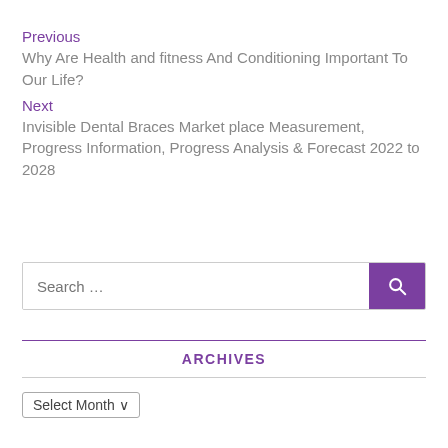Previous
Why Are Health and fitness And Conditioning Important To Our Life?
Next
Invisible Dental Braces Market place Measurement, Progress Information, Progress Analysis & Forecast 2022 to 2028
[Figure (other): Search input box with purple search button containing magnifying glass icon]
ARCHIVES
Select Month ∨